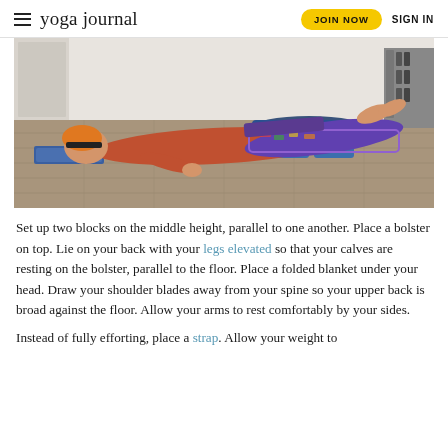yoga journal | JOIN NOW | SIGN IN
[Figure (photo): Woman lying on her back on a wood floor with her calves resting on a blue bolster supported by two blue yoga blocks at middle height. She has orange hair with a black headband, wears a rust-colored top and colorful patterned leggings. A folded blanket is under her head. Her arms rest at her sides. A door and gym equipment are visible in the background.]
Set up two blocks on the middle height, parallel to one another. Place a bolster on top. Lie on your back with your legs elevated so that your calves are resting on the bolster, parallel to the floor. Place a folded blanket under your head. Draw your shoulder blades away from your spine so your upper back is broad against the floor. Allow your arms to rest comfortably by your sides.
Instead of fully efforting, place a strap. Allow your weight to